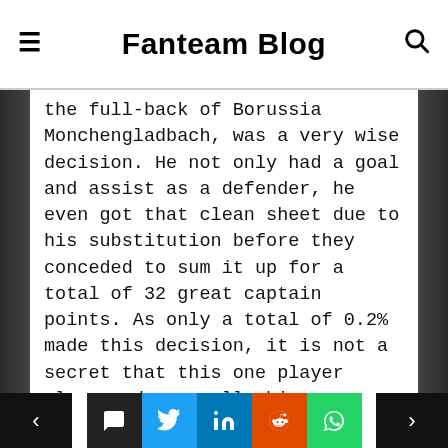Fanteam Blog
the full-back of Borussia Monchengladbach, was a very wise decision. He not only had a goal and assist as a defender, he even got that clean sheet due to his substitution before they conceded to sum it up for a total of 32 great captain points. As only a total of 0.2% made this decision, it is not a secret that this one player alone made a really big difference to the entire field.
Besides that, his Hertha Berlin players all scored or assisted and Braut Haaland also had a great day on that 4-0 victory over Schalke 04.
All in all, this is one of the best...